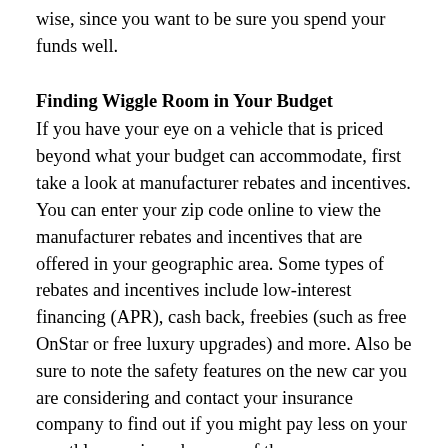wise, since you want to be sure you spend your funds well.
Finding Wiggle Room in Your Budget
If you have your eye on a vehicle that is priced beyond what your budget can accommodate, first take a look at manufacturer rebates and incentives. You can enter your zip code online to view the manufacturer rebates and incentives that are offered in your geographic area. Some types of rebates and incentives include low-interest financing (APR), cash back, freebies (such as free OnStar or free luxury upgrades) and more. Also be sure to note the safety features on the new car you are considering and contact your insurance company to find out if you might pay less on your monthly premiums because of these